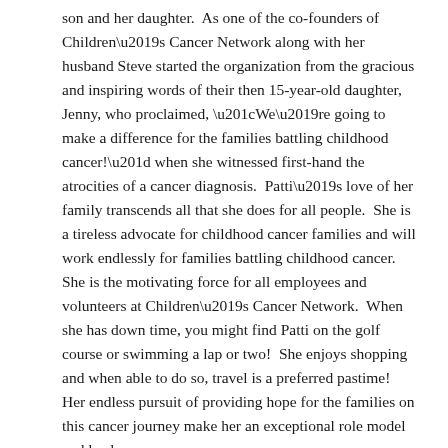son and her daughter.  As one of the co-founders of Children's Cancer Network along with her husband Steve started the organization from the gracious and inspiring words of their then 15-year-old daughter, Jenny, who proclaimed, “We’re going to make a difference for the families battling childhood cancer!” when she witnessed first-hand the atrocities of a cancer diagnosis.  Patti’s love of her family transcends all that she does for all people.  She is a tireless advocate for childhood cancer families and will work endlessly for families battling childhood cancer.  She is the motivating force for all employees and volunteers at Children’s Cancer Network.  When she has down time, you might find Patti on the golf course or swimming a lap or two!  She enjoys shopping and when able to do so, travel is a preferred pastime!  Her endless pursuit of providing hope for the families on this cancer journey make her an exceptional role model and leader.